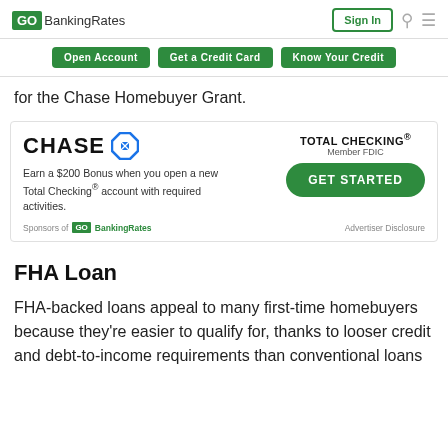GO BankingRates | Sign In
Open Account  Get a Credit Card  Know Your Credit
for the Chase Homebuyer Grant.
[Figure (infographic): Chase bank advertisement showing CHASE logo with octagon symbol, TOTAL CHECKING member FDIC, GET STARTED button, Earn a $200 Bonus when you open a new Total Checking account with required activities. Sponsors of GOBankingRates. Advertiser Disclosure.]
FHA Loan
FHA-backed loans appeal to many first-time homebuyers because they're easier to qualify for, thanks to looser credit and debt-to-income requirements than conventional loans